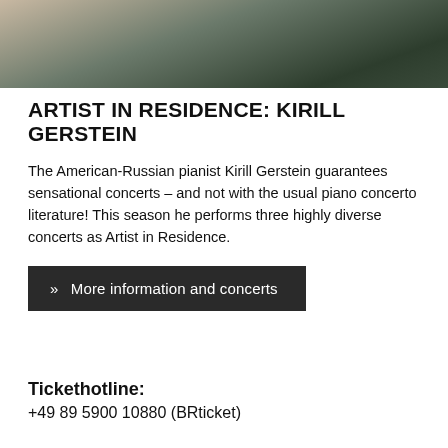[Figure (photo): Cropped photo of two people, partially visible torsos, one wearing a light/beige coat and one wearing a dark green or black outfit, outdoor setting with blurred background.]
ARTIST IN RESIDENCE: KIRILL GERSTEIN
The American-Russian pianist Kirill Gerstein guarantees sensational concerts – and not with the usual piano concerto literature! This season he performs three highly diverse concerts as Artist in Residence.
» More information and concerts
Tickethotline:
+49 89 5900 10880 (BRticket)